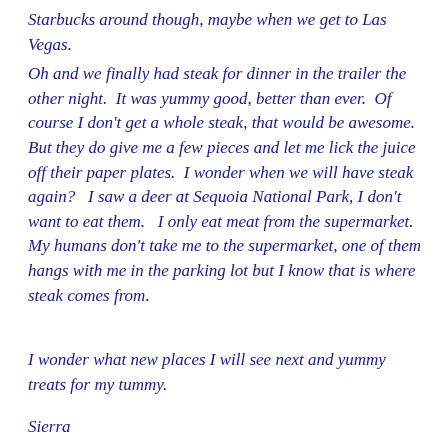Starbucks around though, maybe when we get to Las Vegas.
Oh and we finally had steak for dinner in the trailer the other night.  It was yummy good, better than ever.  Of course I don't get a whole steak, that would be awesome.  But they do give me a few pieces and let me lick the juice off their paper plates.  I wonder when we will have steak again?   I saw a deer at Sequoia National Park, I don't want to eat them.   I only eat meat from the supermarket.  My humans don't take me to the supermarket, one of them hangs with me in the parking lot but I know that is where steak comes from.
I wonder what new places I will see next and yummy treats for my tummy.
Sierra